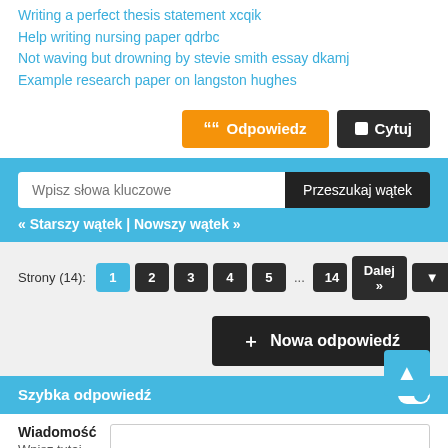Writing a perfect thesis statement xcqik
Help writing nursing paper qdrbc
Not waving but drowning by stevie smith essay dkamj
Example research paper on langston hughes
[Figure (screenshot): Orange 'Odpowiedz' button and dark 'Cytuj' button]
[Figure (screenshot): Blue search bar with text input 'Wpisz słowa kluczowe' and dark 'Przeszukaj wątek' button, with navigation links '« Starszy wątek | Nowszy wątek »']
[Figure (screenshot): Pagination row: Strony (14): 1 2 3 4 5 ... 14 Dalej » dropdown]
[Figure (screenshot): Dark 'Nowa odpowiedź' button with plus icon]
[Figure (screenshot): Blue 'Szybka odpowiedź' section header with toggle icon]
Wiadomość
Wpisz tutaj swoją odpowiedź.